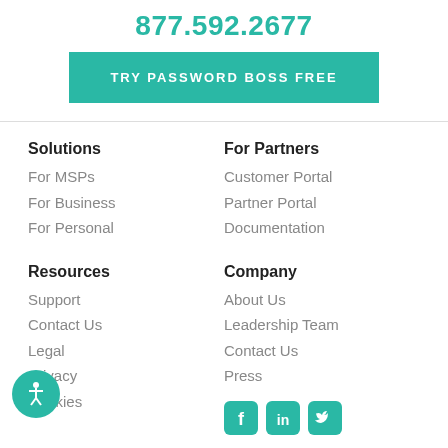877.592.2677
TRY PASSWORD BOSS FREE
Solutions
For MSPs
For Business
For Personal
For Partners
Customer Portal
Partner Portal
Documentation
Resources
Support
Contact Us
Legal
Privacy
Cookies
Company
About Us
Leadership Team
Contact Us
Press
[Figure (other): Social media icons: Facebook, LinkedIn, Twitter in teal rounded square buttons]